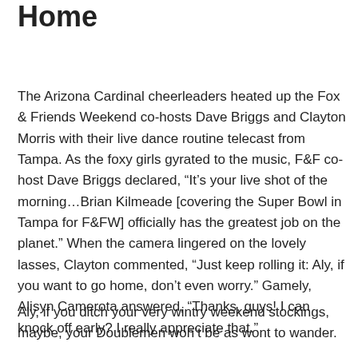Home
The Arizona Cardinal cheerleaders heated up the Fox & Friends Weekend co-hosts Dave Briggs and Clayton Morris with their live dance routine telecast from Tampa. As the foxy girls gyrated to the music, F&F co-host Dave Briggs declared, “It’s your live shot of the morning…Brian Kilmeade [covering the Super Bowl in Tampa for F&FW] officially has the greatest job on the planet.” When the camera lingered on the lovely lasses, Clayton commented, “Just keep rolling it: Aly, if you want to go home, don’t even worry.” Gamely, Alisyn Camerota answered, “Thanks, guys! I can knock off early? I really appreciate that.”
Aly, if you ditch your very wintry weekend stockings, maybe, your Doublemen won’t be as wont to wander.